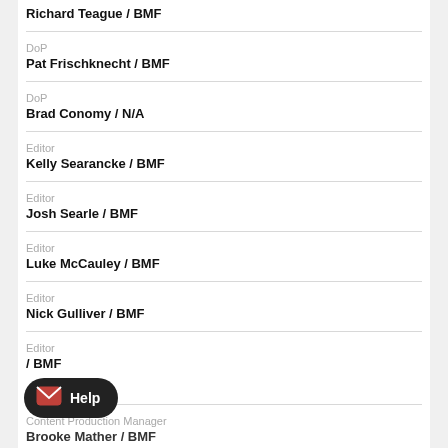Richard Teague / BMF
DoP
Pat Frischknecht / BMF
DoP
Brad Conomy / N/A
Editor
Kelly Searancke / BMF
Editor
Josh Searle / BMF
Editor
Luke McCauley / BMF
Editor
Nick Gulliver / BMF
Editor
/ BMF
Content Production Manager
Brooke Mather / BMF